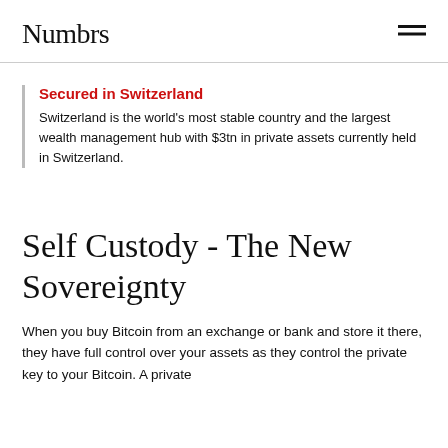Numbrs
Secured in Switzerland
Switzerland is the world's most stable country and the largest wealth management hub with $3tn in private assets currently held in Switzerland.
Self Custody - The New Sovereignty
When you buy Bitcoin from an exchange or bank and store it there, they have full control over your assets as they control the private key to your Bitcoin. A private